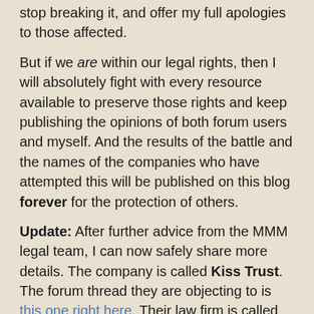stop breaking it, and offer my full apologies to those affected.
But if we are within our legal rights, then I will absolutely fight with every resource available to preserve those rights and keep publishing the opinions of both forum users and myself. And the results of the battle and the names of the companies who have attempted this will be published on this blog forever for the protection of others.
Update: After further advice from the MMM legal team, I can now safely share more details. The company is called Kiss Trust. The forum thread they are objecting to is this one right here. Their law firm is called "Law office of Mark B. Williams, PLC", and here is a copy of the letter they sent me:
[Figure (photo): Letterhead of Law Office of Mark B. Williams, PLC, showing the firm's name, address at 11 Culpeper Street, Warrenton, VA 20186, and phone/fax numbers, with a building/courthouse illustration on the left and attorney names listed on the right.]